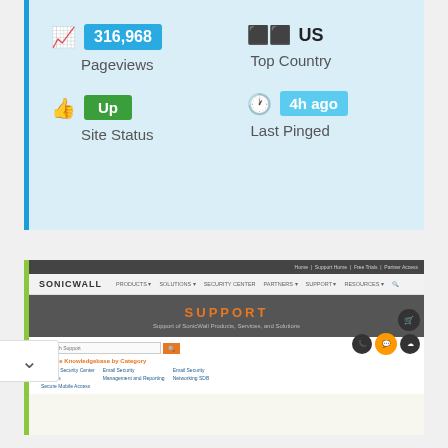[Figure (screenshot): Website stats panel showing Pageviews: 316,968, Top Country: US, Site Status: Up, Last Pinged: 4h ago]
[Figure (screenshot): Screenshot of SonicWall support website with navigation, hero banner saying SUPPORT, search bar, and Browse Knowledgebase by Category section]